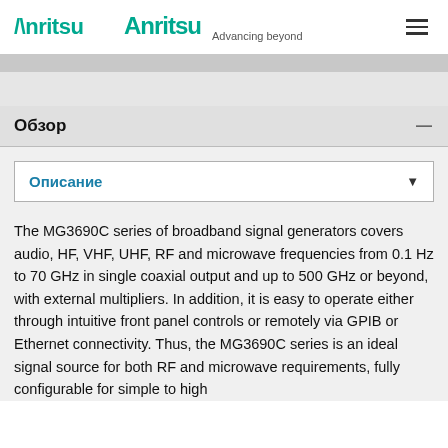Anritsu Advancing beyond
Обзор
Описание
The MG3690C series of broadband signal generators covers audio, HF, VHF, UHF, RF and microwave frequencies from 0.1 Hz to 70 GHz in single coaxial output and up to 500 GHz or beyond, with external multipliers. In addition, it is easy to operate either through intuitive front panel controls or remotely via GPIB or Ethernet connectivity. Thus, the MG3690C series is an ideal signal source for both RF and microwave requirements, fully configurable for simple to high